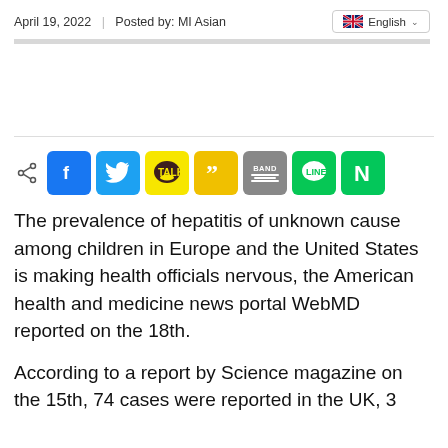April 19, 2022 | Posted by: MI Asian
[Figure (infographic): Social share buttons row: share icon, Facebook (blue), Twitter (light blue), KakaoTalk (yellow), Kakao (yellow/quotation), Band (gray), Line (green), Naver (green N)]
The prevalence of hepatitis of unknown cause among children in Europe and the United States is making health officials nervous, the American health and medicine news portal WebMD reported on the 18th.
According to a report by Science magazine on the 15th, 74 cases were reported in the UK, 3